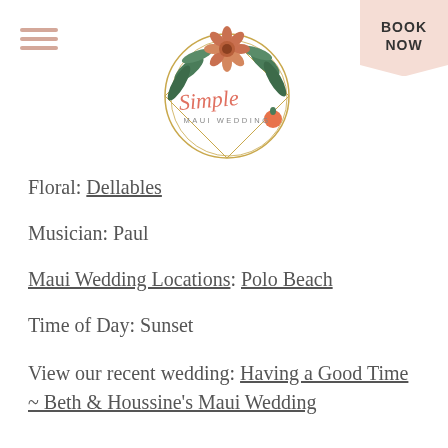[Figure (logo): Simple Maui Wedding logo — circular gold geometric frame with tropical flowers (protea, palm leaves, orange fruit) and script text 'Simple' in coral/pink, with 'MAUI WEDDING' in small caps below]
[Figure (other): Hamburger menu icon — three horizontal coral/salmon colored lines stacked vertically on the top left]
BOOK NOW
Floral: Dellables
Musician: Paul
Maui Wedding Locations: Polo Beach
Time of Day: Sunset
View our recent wedding: Having a Good Time ~ Beth & Houssine's Maui Wedding